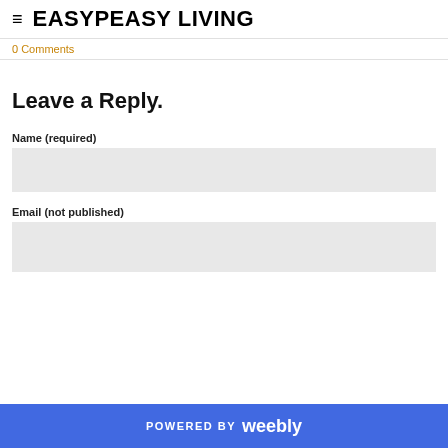EASYPEASY LIVING
0 Comments
Leave a Reply.
Name (required)
Email (not published)
POWERED BY weebly